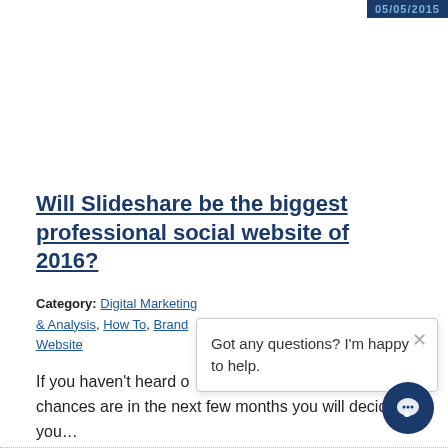05/05/2015
Will Slideshare be the biggest professional social website of 2016?
Category: Digital Marketing & Analysis, How To, Brand Website
If you haven't heard of the website Slideshare yet, chances are in the next few months you will decide you...